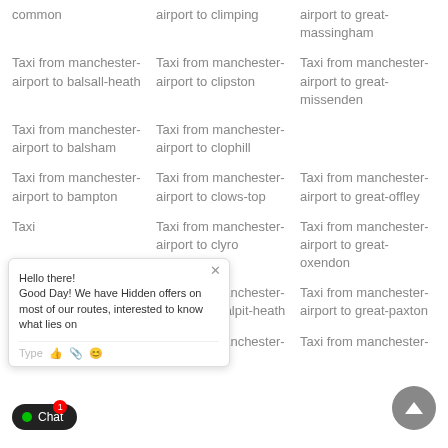common
airport to climping
airport to great-massingham
Taxi from manchester-airport to balsall-heath
Taxi from manchester-airport to clipston
Taxi from manchester-airport to great-missenden
Taxi from manchester-airport to balsham
Taxi from manchester-airport to clophill
Taxi from manchester-airport to bampton
Taxi from manchester-airport to clows-top
Taxi from manchester-airport to great-offley
Taxi from manchester-airport to clyro
Taxi from manchester-airport to great-oxendon
Taxi from manchester-airport to coalpit-heath
Taxi from manchester-airport to great-paxton
Taxi from manchester-
Taxi from manchester-
Taxi from manchester-